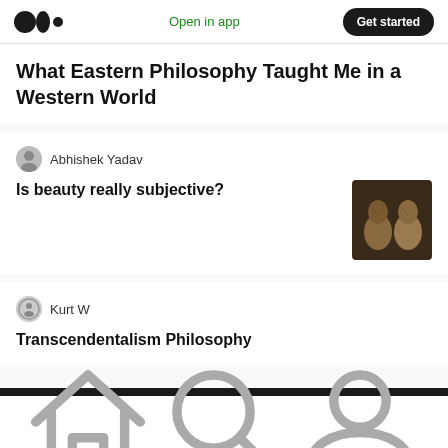Medium logo | Open in app | Get started
What Eastern Philosophy Taught Me in a Western World
Abhishek Yadav
Is beauty really subjective?
[Figure (photo): Thumbnail image of stone busts or sculptures]
Kurt W
Transcendentalism Philosophy
Home | Search | Profile icons